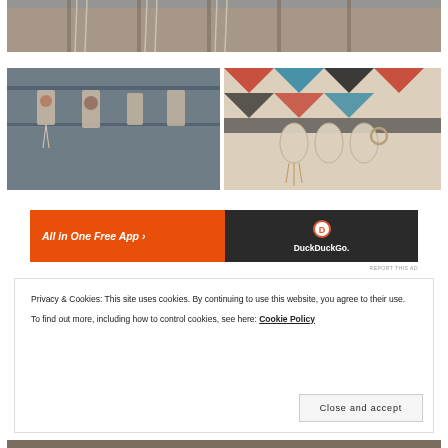[Figure (photo): Top partial photo showing macrame wall hangings on wooden frames against a blue-grey background]
[Figure (photo): Left photo: macrame cross/ankh ornaments hanging on a metal rack]
[Figure (photo): Right photo: macrame tasseled earrings laid on a colorful Aztec/Navajo patterned textile]
[Figure (screenshot): DuckDuckGo advertisement banner: orange left side reading 'All in One Free App' and dark right side with DuckDuckGo logo]
REPORT THIS AD
Privacy & Cookies: This site uses cookies. By continuing to use this website, you agree to their use.
To find out more, including how to control cookies, see here: Cookie Policy
Close and accept
[Figure (photo): Bottom partial photo showing macrame/boho jewelry items]